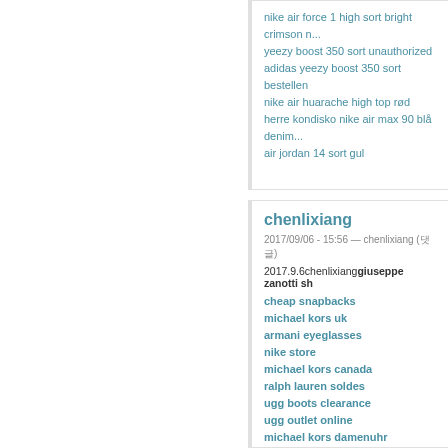yeezy boost 350 sort unauthorized
adidas yeezy boost 350 sort bestellen
nike air huarache high top rød
herre kondisko nike air max 90 blå denim
air jordan 14 sort gul
chenlixiang
2017/09/06 - 15:56 — chenlixiang (댓글)
2017.9.6chenlixiang giuseppe zanotti sh
cheap snapbacks
michael kors uk
armani eyeglasses
nike store
michael kors canada
ralph lauren soldes
ugg boots clearance
ugg outlet online
michael kors damenuhr
ugg australia
coach bags
louis vuitton bags